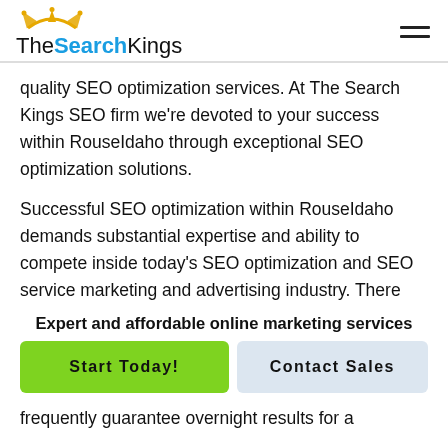[Figure (logo): TheSearchKings logo with gold crown icon above the text. 'The' in black, 'Search' in blue bold, 'Kings' in black.]
quality SEO optimization services. At The Search Kings SEO firm we're devoted to your success within RouseIdaho through exceptional SEO optimization solutions.
Successful SEO optimization within RouseIdaho demands substantial expertise and ability to compete inside today's SEO optimization and SEO service marketing and advertising industry. There
Expert and affordable online marketing services
Start Today!
Contact Sales
frequently guarantee overnight results for a